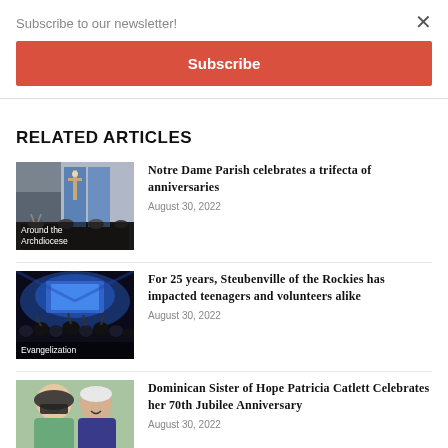Subscribe to our newsletter!
Subscribe
RELATED ARTICLES
[Figure (photo): Church interior with crucifix and blue panels, congregation visible]
Around the Archdiocese
Notre Dame Parish celebrates a trifecta of anniversaries
August 30, 2022
[Figure (photo): Concert crowd with hands raised, stage lit in blue]
Evangelization
For 25 years, Steubenville of the Rockies has impacted teenagers and volunteers alike
August 30, 2022
[Figure (photo): Two smiling women, one wearing sunglasses and a hat]
Dominican Sister of Hope Patricia Catlett Celebrates her 70th Jubilee Anniversary
August 30, 2022